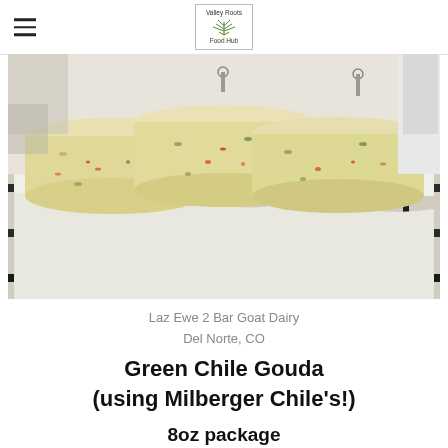Valley Roots Food Hub
[Figure (photo): Three large wheels of Green Chile Gouda cheese sitting on a white cloth-lined metal rack shelf in a dairy production facility. The cheese wheels are pale yellow with visible green and red chile pepper flecks throughout. A person in white clothing is partially visible in the background.]
Laz Ewe 2 Bar Goat Dairy
Del Norte, CO
Green Chile Gouda (using Milberger Chile's!)
8oz package